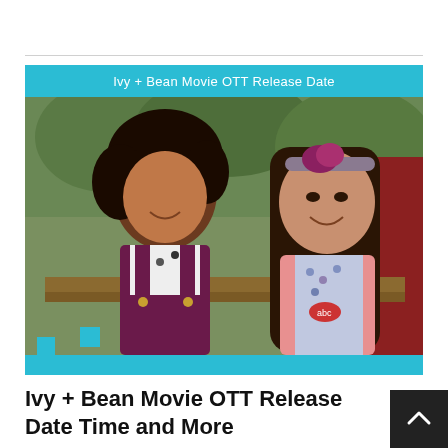[Figure (photo): Photo of two young girls facing each other and smiling. The girl on the left has curly dark hair and wears a purple/maroon overall dress over a white tee with vehicle prints. The girl on the right has long dark hair with a floral headband and wears a pink cardigan over a floral dress. They appear to be sitting on a bench outdoors. The image has a cyan/teal top bar reading 'Ivy + Bean Movie OTT Release Date' and a teal bottom bar.]
Ivy + Bean Movie OTT Release Date Time and More